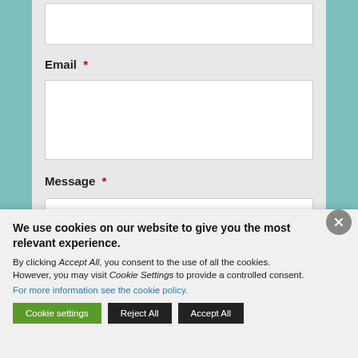Email *
Message *
We use cookies on our website to give you the most relevant experience.
By clicking Accept All, you consent to the use of all the cookies. However, you may visit Cookie Settings to provide a controlled consent.
For more information see the cookie policy.
Cookie settings
Reject All
Accept All